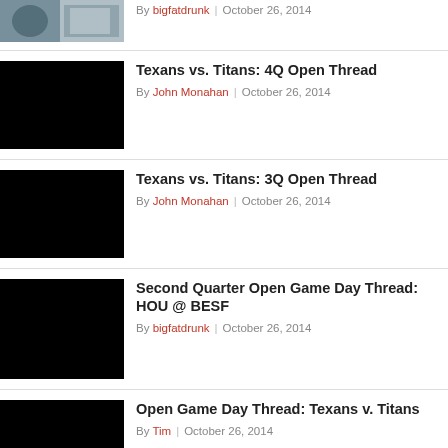[Figure (photo): Sports action photo of football players]
By bigfatdrunk | October 26, 2014
[Figure (photo): Black thumbnail image]
Texans vs. Titans: 4Q Open Thread
By John Monahan | October 26, 2014
[Figure (photo): Black thumbnail image]
Texans vs. Titans: 3Q Open Thread
By John Monahan | October 26, 2014
[Figure (photo): Black thumbnail image]
Second Quarter Open Game Day Thread: HOU @ BESF
By bigfatdrunk | October 26, 2014
[Figure (photo): Black thumbnail image]
Open Game Day Thread: Texans v. Titans
By Tim | October 26, 2014